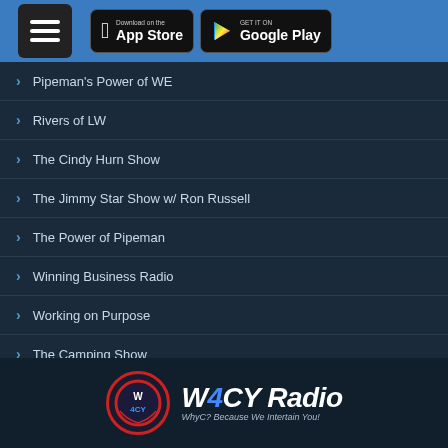Header bar with hamburger menu, App Store button, Google Play button
Pipeman's Power of WE
Rivers of LW
The Cindy Hurn Show
The Jimmy Star Show w/ Ron Russell
The Power of Pipeman
Winning Business Radio
Working on Purpose
The Camping Show
W4CY Radio — WhyC? Because We Intertain You!